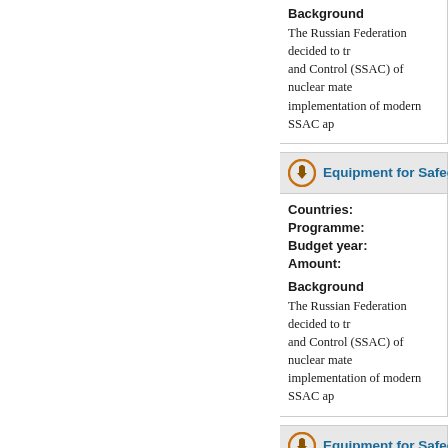Background
The Russian Federation decided to tr and Control (SSAC) of nuclear mate implementation of modern SSAC ap
Equipment for Safeguards
Countries:
Programme:
Budget year:
Amount:
Background
The Russian Federation decided to tr and Control (SSAC) of nuclear mate implementation of modern SSAC ap
Equipment for Safeguards
Countries: